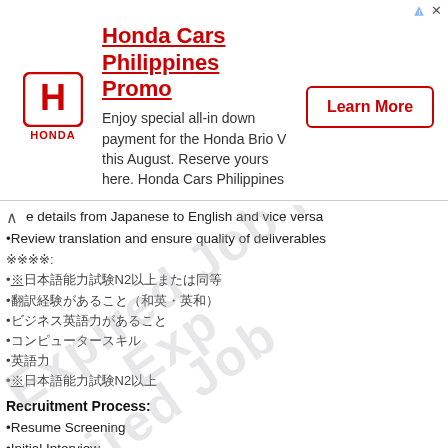[Figure (infographic): Honda Cars Philippines advertisement banner with Honda logo, promotional text, and Learn More button]
e details from Japanese to English and vice versa
Review translation and ensure quality of deliverables
資格:
・日本語能力試験N2以上または同等
・翻訳経験があること（和英・英和）
・ビジネス英語力があること
・コンピュータースキル
・英語力
・☐日本語能力試験N2以上
Recruitment Process:
Resume Screening
Initial Interview
Skills Interview
Hiring Manager Interview
Client Interview
Job Offer
採用プロセス:
・　Resume Screening
・面接